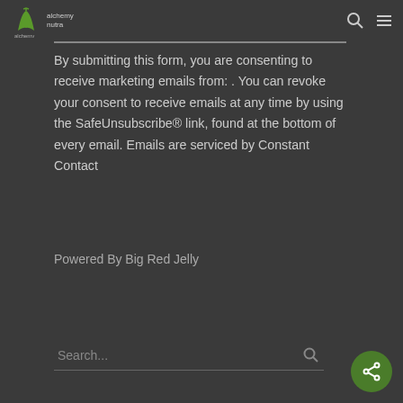alchemy nutra
By submitting this form, you are consenting to receive marketing emails from: . You can revoke your consent to receive emails at any time by using the SafeUnsubscribe® link, found at the bottom of every email. Emails are serviced by Constant Contact
Powered By Big Red Jelly